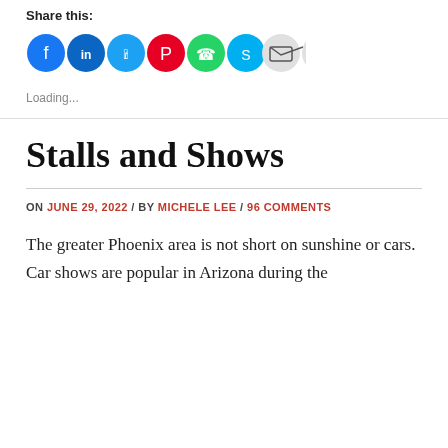Share this:
[Figure (infographic): Row of social media share icons: Facebook (blue), LinkedIn (blue), Twitter (blue), Pinterest (red), WhatsApp (green), Skype (blue), Email (gray), Print (gray)]
Loading...
Stalls and Shows
ON JUNE 29, 2022 / BY MICHELE LEE / 96 COMMENTS
The greater Phoenix area is not short on sunshine or cars. Car shows are popular in Arizona during the